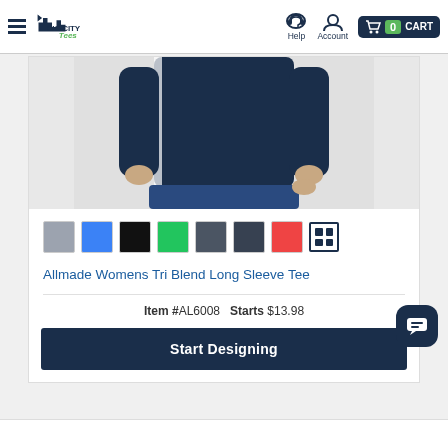Big City Tees — Help | Account | CART 0
[Figure (photo): Woman wearing a navy long sleeve tri blend tee, cropped view showing torso and hands]
[Figure (infographic): Color swatches: gray, blue, black, green, olive, dark gray, red, and a grid icon for more colors]
Allmade Womens Tri Blend Long Sleeve Tee
Item #AL6008   Starts $13.98
Start Designing